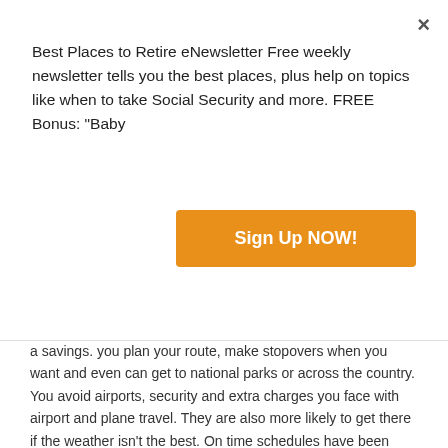Best Places to Retire eNewsletter Free weekly newsletter tells you the best places, plus help on topics like when to take Social Security and more. FREE Bonus: "Baby
Sign Up NOW!
a savings. you plan your route, make stopovers when you want and even can get to national parks or across the country. You avoid airports, security and extra charges you face with airport and plane travel. They are also more likely to get there if the weather isn't the best. On time schedules have been vastly improved. To be frugal consider long distance train if you are lucky to live near a train station as we do in Winter Haven FL.
by David M. Lane — November 6, 2014
David, you mentioned you can take a lot of luggage without fees. What kind of transportation is available at the destinations to deal with that luggage?
by EMA — November 7, 2014